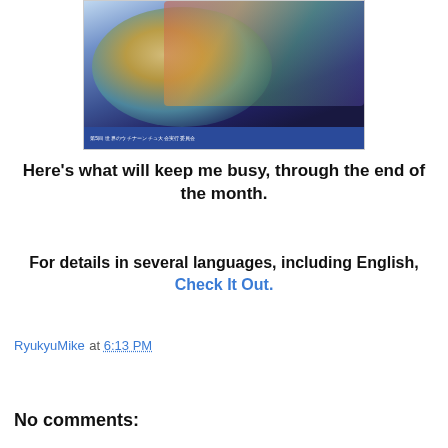[Figure (photo): Event poster/flyer showing a globe collage with people in colorful traditional costumes and cultural imagery, with a blue banner footer containing Japanese text and event details]
Here's what will keep me busy, through the end of the month.
For details in several languages, including English, Check It Out.
RyukyuMike at 6:13 PM
Share
No comments: